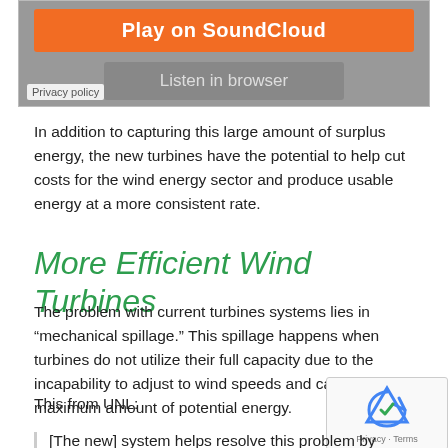[Figure (screenshot): SoundCloud embedded widget with orange 'Play on SoundCloud' button, grey 'Listen in browser' button, and 'Privacy policy' label on grey background]
In addition to capturing this large amount of surplus energy, the new turbines have the potential to help cut costs for the wind energy sector and produce usable energy at a more consistent rate.
More Efficient Wind Turbines
The problem with current turbines systems lies in “mechanical spillage.” This spillage happens when turbines do not utilize their full capacity due to the incapability to adjust to wind speeds and capture the maximum amount of potential energy.
This from UNL:
[The new] system helps resolve this problem by